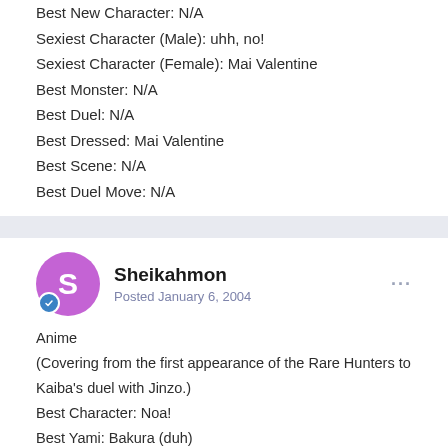Best New Character: N/A
Sexiest Character (Male): uhh, no!
Sexiest Character (Female): Mai Valentine
Best Monster: N/A
Best Duel: N/A
Best Dressed: Mai Valentine
Best Scene: N/A
Best Duel Move: N/A
Sheikahmon — Posted January 6, 2004
Anime
(Covering from the first appearance of the Rare Hunters to Kaiba's duel with Jinzo.)
Best Character: Noa!
Best Yami: Bakura (duh)
Best Millenium Item: Either the Rod or the Ring, but I think it?s a tie
Best Rare Hunter: Odion (every time)